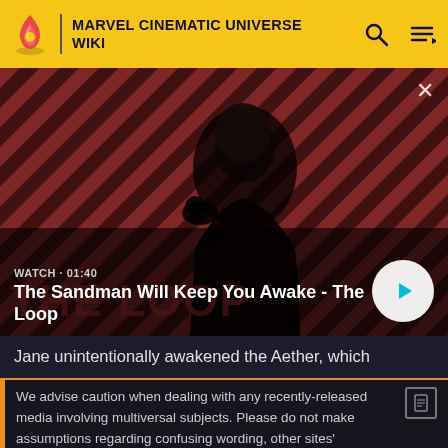MARVEL CINEMATIC UNIVERSE WIKI
[Figure (screenshot): Video thumbnail showing a pale man in dark robes with a crow on his shoulder against a red diagonal striped background. Video title 'The Sandman Will Keep You Awake - The Loop' with duration 01:40 and a play button.]
Jane unintentionally awakened the Aether, which
We advise caution when dealing with any recently-released media involving multiversal subjects. Please do not make assumptions regarding confusing wording, other sites' speculation, and people's headcanon around the internet.